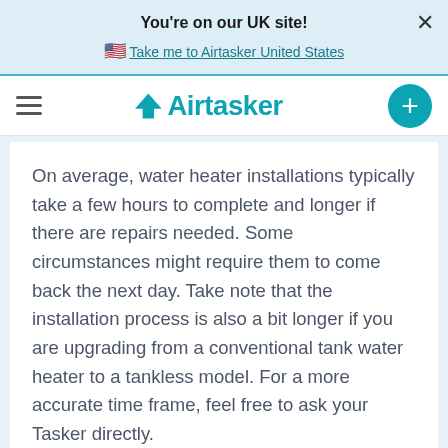You're on our UK site!
Take me to Airtasker United States
[Figure (logo): Airtasker logo with hamburger menu and plus button]
On average, water heater installations typically take a few hours to complete and longer if there are repairs needed. Some circumstances might require them to come back the next day. Take note that the installation process is also a bit longer if you are upgrading from a conventional tank water heater to a tankless model. For a more accurate time frame, feel free to ask your Tasker directly.